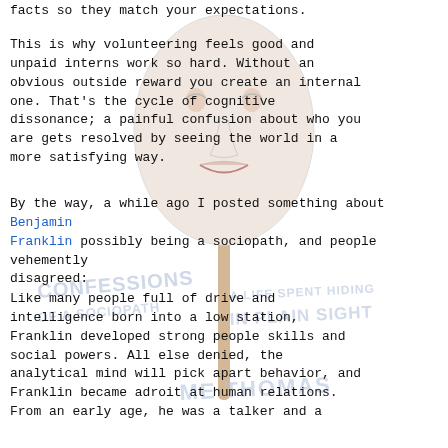[Figure (illustration): Background illustration of a face/head on a stick (mask or lollipop-like figure) with watermark text overlaid: CONFESSIONS OF A SOCIOPATH, A LIFE SPENT HIDING IN PLAIN SIGHT, ME THOMAS]
facts so they match your expectations.
This is why volunteering feels good and unpaid interns work so hard. Without an obvious outside reward you create an internal one. That's the cycle of cognitive dissonance; a painful confusion about who you are gets resolved by seeing the world in a more satisfying way.
By the way, a while ago I posted something about Benjamin Franklin possibly being a sociopath, and people vehemently disagreed:
Like many people full of drive and intelligence born into a low station, Franklin developed strong people skills and social powers. All else denied, the analytical mind will pick apart behavior, and Franklin became adroit at human relations. From an early age, he was a talker and a